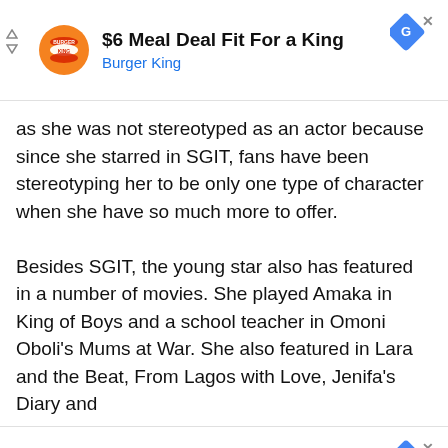[Figure (other): Burger King advertisement banner: logo, title '$6 Meal Deal Fit For a King', subtitle 'Burger King', navigation arrows and ad badge top]
as she was not stereotyped as an actor because since she starred in SGIT, fans have been stereotyping her to be only one type of character when she have so much more to offer.

Besides SGIT, the young star also has featured in a number of movies. She played Amaka in King of Boys and a school teacher in Omoni Oboli's Mums at War. She also featured in Lara and the Beat, From Lagos with Love, Jenifa's Diary and
[Figure (other): Burger King advertisement banner: logo, title '$6 Meal Deal Fit For a King', subtitle 'Burger King', navigation arrows and ad badge bottom]
Aside being an actor, she was as an accomplished...